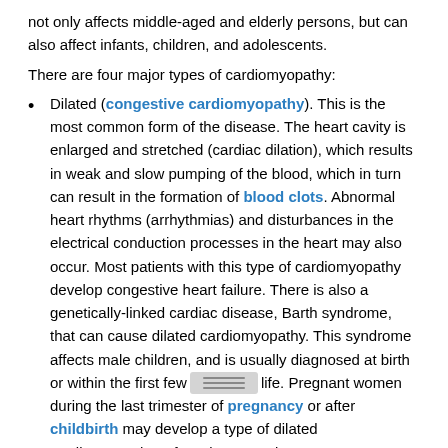not only affects middle-aged and elderly persons, but can also affect infants, children, and adolescents.
There are four major types of cardiomyopathy:
Dilated (congestive cardiomyopathy). This is the most common form of the disease. The heart cavity is enlarged and stretched (cardiac dilation), which results in weak and slow pumping of the blood, which in turn can result in the formation of blood clots. Abnormal heart rhythms (arrhythmias) and disturbances in the electrical conduction processes in the heart may also occur. Most patients with this type of cardiomyopathy develop congestive heart failure. There is also a genetically-linked cardiac disease, Barth syndrome, that can cause dilated cardiomyopathy. This syndrome affects male children, and is usually diagnosed at birth or within the first few months of life. Pregnant women during the last trimester of pregnancy or after childbirth may develop a type of dilated cardiomyopathy referred to as peripartum cardiomyopathy.